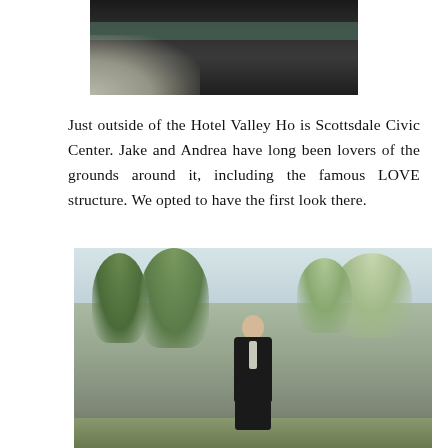[Figure (photo): Partial cropped photo at top of page showing a person in dark formal wear, possibly a suit, with a striped element visible — appears to be a close-up detail shot cropped at the top]
Just outside of the Hotel Valley Ho is Scottsdale Civic Center. Jake and Andrea have long been lovers of the grounds around it, including the famous LOVE structure. We opted to have the first look there.
[Figure (photo): Outdoor photo of a groom in a dark suit with light tie standing in a park-like setting with trees in the background, at Scottsdale Civic Center near Hotel Valley Ho]